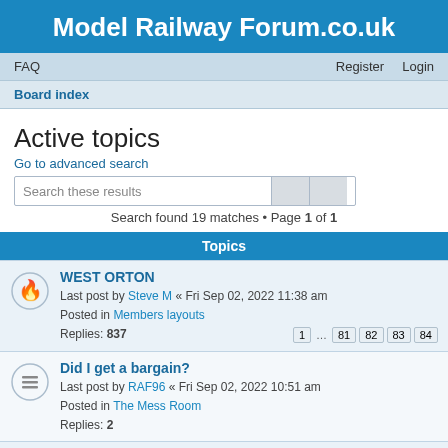Model Railway Forum.co.uk
FAQ   Register   Login
Board index
Active topics
Go to advanced search
Search these results
Search found 19 matches • Page 1 of 1
Topics
WEST ORTON
Last post by Steve M « Fri Sep 02, 2022 11:38 am
Posted in Members layouts
Replies: 837
Did I get a bargain?
Last post by RAF96 « Fri Sep 02, 2022 10:51 am
Posted in The Mess Room
Replies: 2
As yet un-named
Last post by IanS « Fri Sep 02, 2022 9:10 am
Posted in Members layouts
Replies: 30